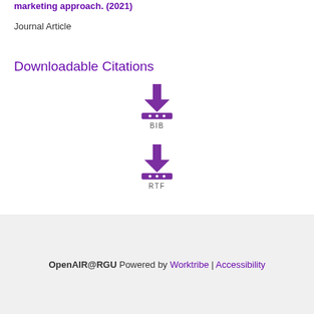marketing approach. (2021)
Journal Article
Downloadable Citations
[Figure (illustration): Purple download icon with arrow pointing down onto a surface with dots, labeled BIB]
[Figure (illustration): Purple download icon with arrow pointing down onto a surface with dots, labeled RTF]
OpenAIR@RGU Powered by Worktribe | Accessibility